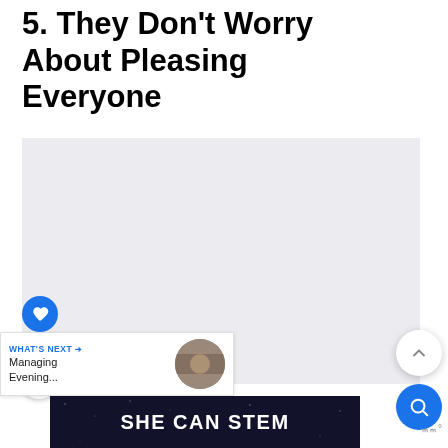5. They Don't Worry About Pleasing Everyone
[Figure (other): Light gray placeholder image area for article content]
[Figure (other): Blue circle like/heart button with heart icon]
344
[Figure (other): Share button (circle with share icon)]
[Figure (other): Scroll to top button (white circle with up chevron)]
[Figure (other): Search button (blue circle with magnifier icon)]
[Figure (other): What's Next promo box with thumbnail image showing 'Managing Evening...']
[Figure (other): SHE CAN STEM advertisement banner on dark background]